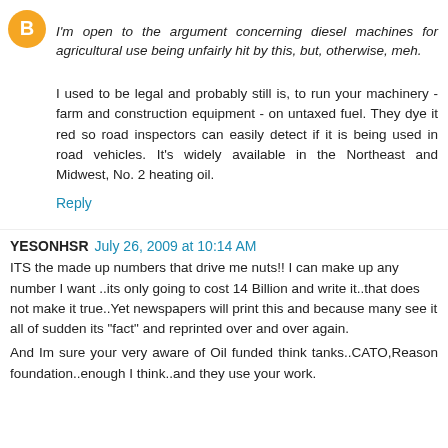I'm open to the argument concerning diesel machines for agricultural use being unfairly hit by this, but, otherwise, meh.
I used to be legal and probably still is, to run your machinery - farm and construction equipment - on untaxed fuel. They dye it red so road inspectors can easily detect if it is being used in road vehicles. It's widely available in the Northeast and Midwest, No. 2 heating oil.
Reply
YESONHSR  July 26, 2009 at 10:14 AM
ITS the made up numbers that drive me nuts!! I can make up any number I want ..its only going to cost 14 Billion and write it..that does not make it true..Yet newspapers will print this and because many see it all of sudden its "fact" and reprinted over and over again.
And Im sure your very aware of Oil funded think tanks..CATO,Reason foundation..enough I think..and they use your work.